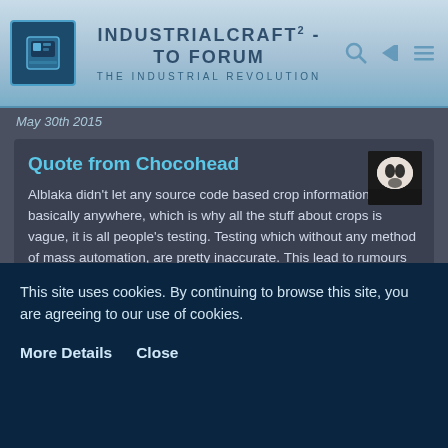IndustrialCraft² - The Forum — The Industrial Revolution
May 30th 2015
Quote from Chocohead
Alblaka didn't let any source code based crop information exist basically anywhere, which is why all the stuff about crops is vague, it is all people's testing. Testing which without any method of mass automation, are pretty inaccurate. This lead to rumours that it was totally random, even though it's far from it.
ok. Then i should let out my Tutorial video how the Crops work???
This site uses cookies. By continuing to browse this site, you are agreeing to our use of cookies.
More Details   Close